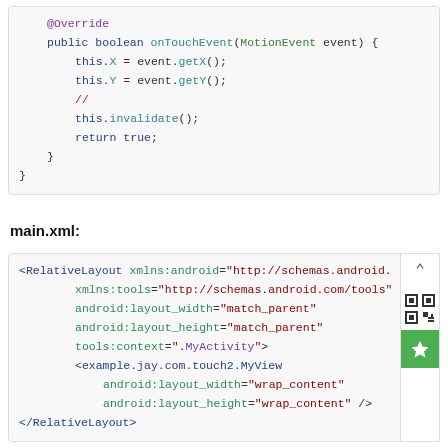[Figure (screenshot): Code block showing Java onTouchEvent method with @Override annotation, MotionEvent event handler, getX/getY calls, a comment line, invalidate() call, and return true statement.]
main.xml:
[Figure (screenshot): XML code block showing RelativeLayout with xmlns:android, xmlns:tools, android:layout_width=match_parent, android:layout_height=match_parent, tools:context=.MyActivity, example.jay.com.touch2.MyView element with wrap_content dimensions, and closing RelativeLayout tag.]